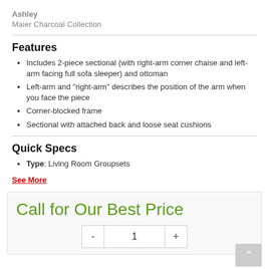Ashley
Maier Charcoal Collection
Features
Includes 2-piece sectional (with right-arm corner chaise and left-arm facing full sofa sleeper) and ottoman
Left-arm and "right-arm" describes the position of the arm when you face the piece
Corner-blocked frame
Sectional with attached back and loose seat cushions
Quick Specs
Type: Living Room Groupsets
See More
Call for Our Best Price